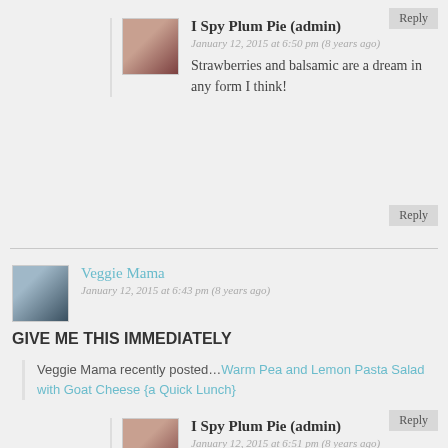Reply
I Spy Plum Pie (admin)
January 12, 2015 at 6:50 pm (8 years ago)
Strawberries and balsamic are a dream in any form I think!
Reply
Veggie Mama
January 12, 2015 at 6:43 pm (8 years ago)
GIVE ME THIS IMMEDIATELY
Veggie Mama recently posted...Warm Pea and Lemon Pasta Salad with Goat Cheese {a Quick Lunch}
Reply
I Spy Plum Pie (admin)
January 12, 2015 at 6:51 pm (8 years ago)